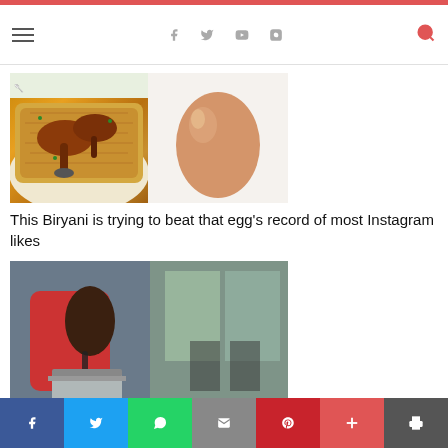Navigation header with hamburger menu, social icons (Facebook, Twitter, YouTube, Instagram), and search icon
[Figure (photo): Two images side by side: left shows chicken biryani on a white plate with rice and drumsticks, right shows a plain brown egg on a white background]
This Biryani is trying to beat that egg's record of most Instagram likes
[Figure (photo): A person in a red shirt pouring dark liquid (tea/beverage) into a metal container, street food vendor scene]
11 winter foods to satisfy your cravings
Social share bar: Facebook, Twitter, WhatsApp, Email, Pinterest, Plus, Print